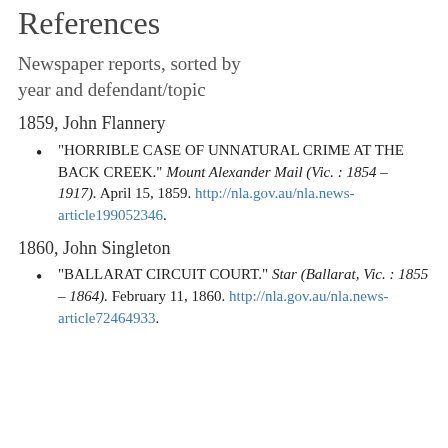References
Newspaper reports, sorted by year and defendant/topic
1859, John Flannery
"HORRIBLE CASE OF UNNATURAL CRIME AT THE BACK CREEK." Mount Alexander Mail (Vic. : 1854 – 1917). April 15, 1859. http://nla.gov.au/nla.news-article199052346.
1860, John Singleton
"BALLARAT CIRCUIT COURT." Star (Ballarat, Vic. : 1855 – 1864). February 11, 1860. http://nla.gov.au/nla.news-article72464933.